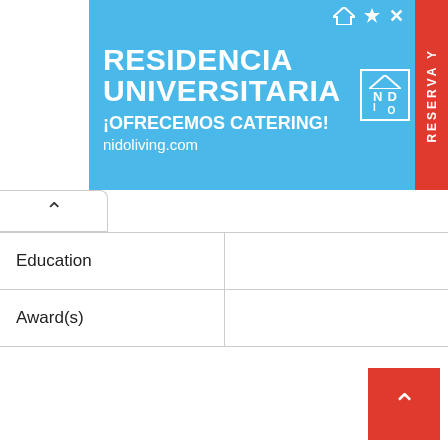[Figure (illustration): Advertisement banner for Residencia Universitaria NIDO with blue background. Text reads: RESIDENCIA UNIVERSITARIA ¡OFRECEMOS CATERING! nidoliving.com. Red sidebar with text RESERVA Y. Logo shows NI/DO in a box with house icon.]
| Education |  |
| Award(s) |  |
Rupmita Pari Social Media & Websites
| Wikipedia |  |
| IMDB |  |